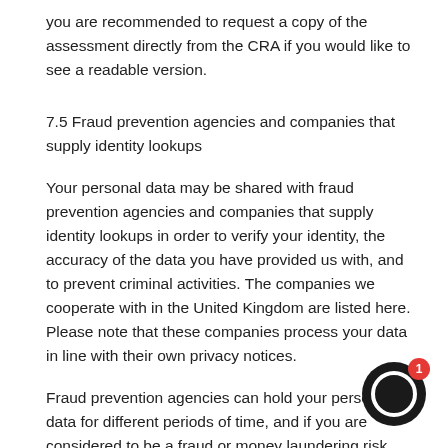you are recommended to request a copy of the assessment directly from the CRA if you would like to see a readable version.
7.5 Fraud prevention agencies and companies that supply identity lookups
Your personal data may be shared with fraud prevention agencies and companies that supply identity lookups in order to verify your identity, the accuracy of the data you have provided us with, and to prevent criminal activities. The companies we cooperate with in the United Kingdom are listed here. Please note that these companies process your data in line with their own privacy notices.
Fraud prevention agencies can hold your personal data for different periods of time, and if you are considered to be a fraud or money laundering risk, your data can be held for up to six years. We and fraud prevention agencies may also